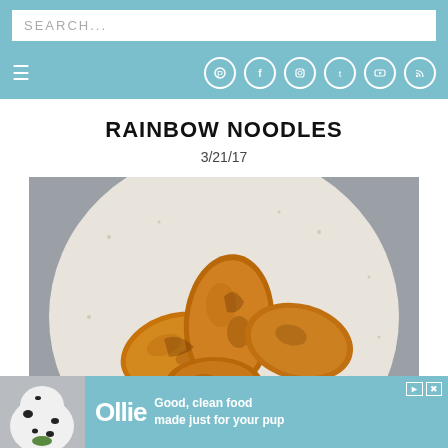SEARCH...
Navigation bar with hamburger menu and social icons (Pinterest, Facebook, Instagram, Twitter, YouTube, RSS)
RAINBOW NOODLES
3/21/17
[Figure (photo): Overhead close-up photo of golden-brown breaded/fried food pieces (possibly chicken nuggets or tofu) in a white speckled ceramic bowl on a gray surface.]
[Figure (photo): Advertisement banner for Ollie showing a dalmatian dog with text: Good, clean food made just for your pup]